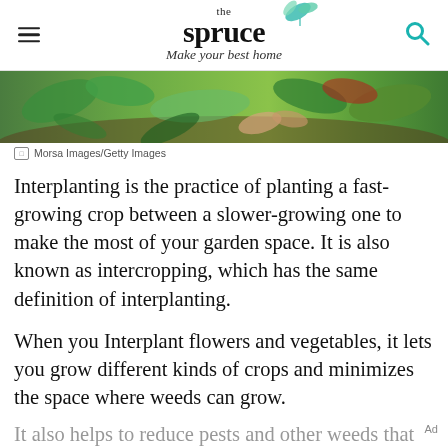the spruce — Make your best home
[Figure (photo): Close-up photo of hands planting or tending to green plants in a garden]
Morsa Images/Getty Images
Interplanting is the practice of planting a fast-growing crop between a slower-growing one to make the most of your garden space. It is also known as intercropping, which has the same definition of interplanting.
When you Interplant flowers and vegetables, it lets you grow different kinds of crops and minimizes the space where weeds can grow.